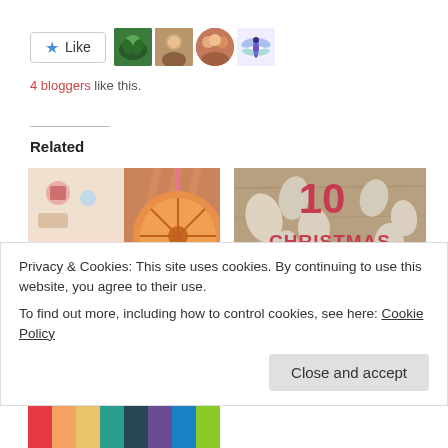[Figure (other): Like button with star icon and 4 blogger avatar thumbnails]
4 bloggers like this.
Related
[Figure (photo): How to Make Dried Orange and Cloves Christmas Decorations - craft photo collage]
How to Make Dried Orange and Cloves Christmas Decorations
[Figure (photo): 10 Christmas Crafts and Activities for Kids - text overlay on craft photo]
10 Christmas Crafts and Activities for Kids
November 17, 2015
Privacy & Cookies: This site uses cookies. By continuing to use this website, you agree to their use.
To find out more, including how to control cookies, see here: Cookie Policy